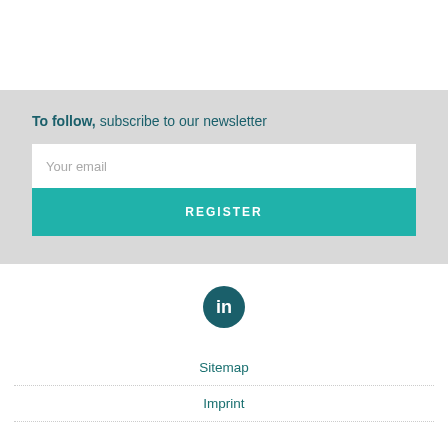To follow, subscribe to our newsletter
Your email
REGISTER
[Figure (logo): LinkedIn circular icon in teal/dark green color with white 'in' text]
Sitemap
Imprint